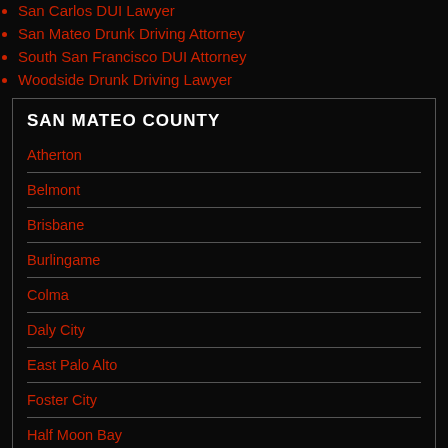San Carlos DUI Lawyer
San Mateo Drunk Driving Attorney
South San Francisco DUI Attorney
Woodside Drunk Driving Lawyer
SAN MATEO COUNTY
Atherton
Belmont
Brisbane
Burlingame
Colma
Daly City
East Palo Alto
Foster City
Half Moon Bay